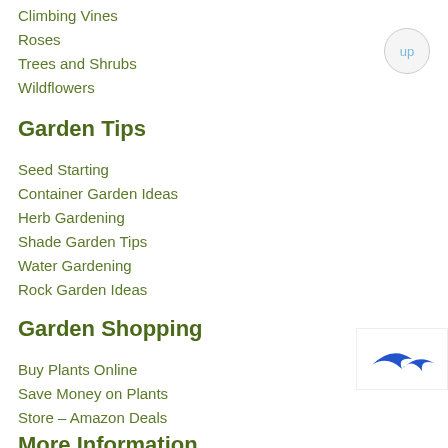Climbing Vines
Roses
Trees and Shrubs
Wildflowers
Garden Tips
Seed Starting
Container Garden Ideas
Herb Gardening
Shade Garden Tips
Water Gardening
Rock Garden Ideas
Garden Shopping
Buy Plants Online
Save Money on Plants
Store – Amazon Deals
More Information
[Figure (logo): Small logo/icon in bottom right corner, blue arrow-like shape]